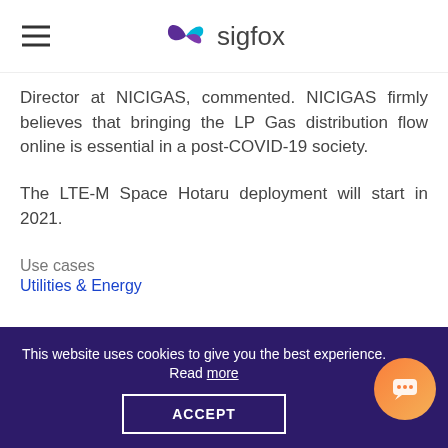sigfox
Director at NICIGAS, commented. NICIGAS firmly believes that bringing the LP Gas distribution flow online is essential in a post-COVID-19 society.
The LTE-M Space Hotaru deployment will start in 2021.
Use cases
Utilities & Energy
About NICIGAS
Nippon Gas Co Ltd, or NICIGAS, is a Japanese
This website uses cookies to give you the best experience. Read more